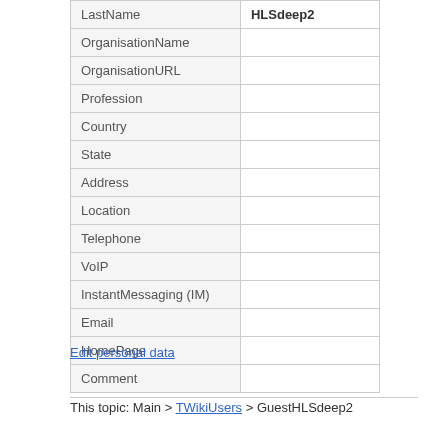| Field | Value |
| --- | --- |
| LastName | HLSdeep2 |
| OrganisationName |  |
| OrganisationURL |  |
| Profession |  |
| Country |  |
| State |  |
| Address |  |
| Location |  |
| Telephone |  |
| VoIP |  |
| InstantMessaging (IM) |  |
| Email |  |
| HomePage |  |
| Comment |  |
Edit personal data
This topic: Main > TWikiUsers > GuestHLSdeep2